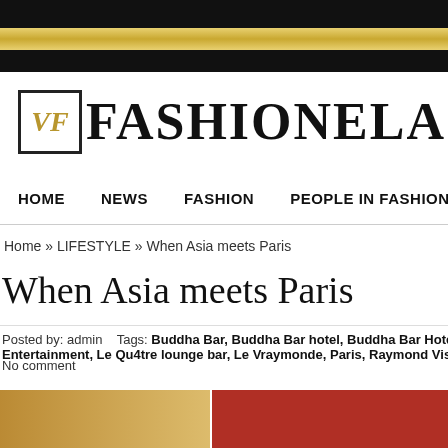FASHIONELA
HOME   NEWS   FASHION   PEOPLE IN FASHION
Home » LIFESTYLE » When Asia meets Paris
When Asia meets Paris
Posted by: admin   Tags: Buddha Bar, Buddha Bar hotel, Buddha Bar Hotel Paris, Franco Entertainment, Le Qu4tre lounge bar, Le Vraymonde, Paris, Raymond Visan   Posted date:   No comment
[Figure (photo): Two photos at bottom of page — left shows ornate gold interior, right shows red decorative objects]